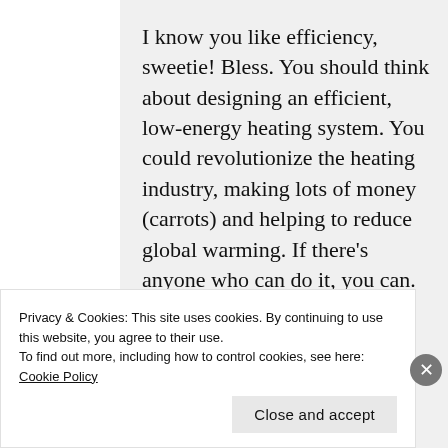I know you like efficiency, sweetie! Bless. You should think about designing an efficient, low-energy heating system. You could revolutionize the heating industry, making lots of money (carrots) and helping to reduce global warming. If there's anyone who can do it, you can. G
Privacy & Cookies: This site uses cookies. By continuing to use this website, you agree to their use. To find out more, including how to control cookies, see here: Cookie Policy